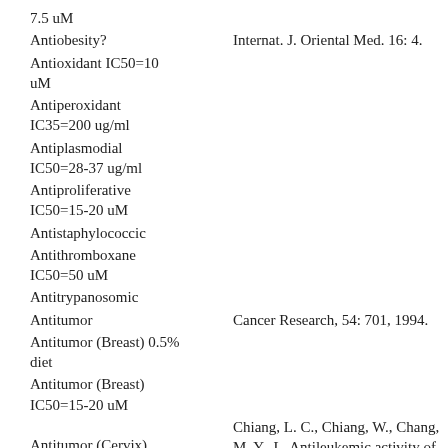7.5 uM
Antiobesity?	Internat. J. Oriental Med. 16: 4.
Antioxidant IC50=10 uM
Antiperoxidant IC35=200 ug/ml
Antiplasmodial IC50=28-37 ug/ml
Antiproliferative IC50=15-20 uM
Antistaphylococcic
Antithromboxane IC50=50 uM
Antitrypanosomic
Antitumor	Cancer Research, 54: 701, 1994.
Antitumor (Breast) 0.5% diet
Antitumor (Breast) IC50=15-20 uM
Antitumor (Cervix)	Chiang, L. C., Chiang, W., Chang, M. Y., L. Antileukemic activity of selected natural p. Chin Med, 31(1):37-46.